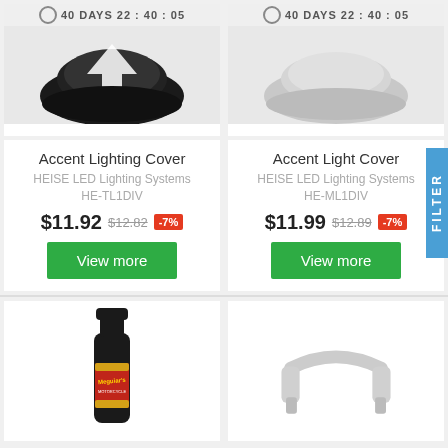[Figure (photo): Black accent lighting cover product image with timer bar showing 40 DAYS 22:40:05]
Accent Lighting Cover
HEISE LED Lighting Systems HE-TL1DIV
$11.92  $12.82  -7%
View more
[Figure (photo): White/grey accent light cover product image with timer bar showing 40 DAYS 22:40:05]
Accent Light Cover
HEISE LED Lighting Systems HE-ML1DIV
$11.99  $12.89  -7%
View more
[Figure (photo): Meguiars motorcycle product bottle (dark bottle with red and yellow label)]
[Figure (photo): White curved/bracket shaped product (accent light cover)]